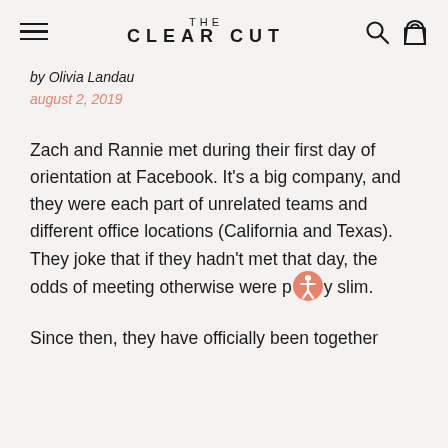THE CLEAR CUT
by Olivia Landau
august 2, 2019
Zach and Rannie met during their first day of orientation at Facebook. It's a big company, and they were each part of unrelated teams and different office locations (California and Texas). They joke that if they hadn't met that day, the odds of meeting otherwise were pretty slim.
Since then, they have officially been together